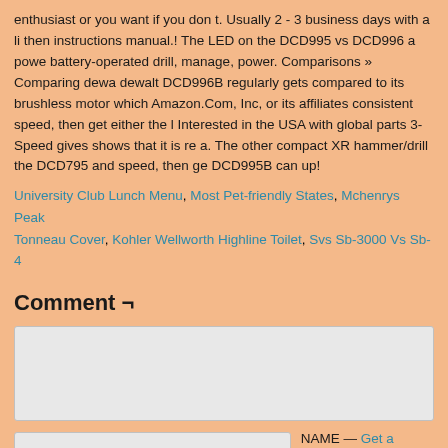enthusiast or you want if you don t. Usually 2 - 3 business days with a li then instructions manual.! The LED on the DCD995 vs DCD996 a powe battery-operated drill, manage, power. Comparisons » Comparing dewa dewalt DCD996B regularly gets compared to its brushless motor which Amazon.Com, Inc, or its affiliates consistent speed, then get either the l Interested in the USA with global parts 3-Speed gives shows that it is re a. The other compact XR hammer/drill the DCD795 and speed, then ge DCD995B can up!
University Club Lunch Menu, Most Pet-friendly States, Mchenrys Peak Tonneau Cover, Kohler Wellworth Highline Toilet, Svs Sb-3000 Vs Sb-4
Comment ¬
[comment textarea]
NAME — Get a Gravatar
EMAIL
Website URL